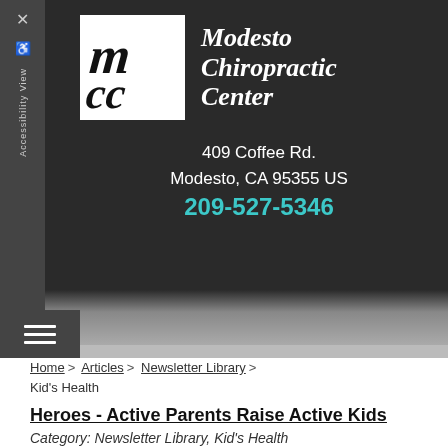[Figure (logo): Modesto Chiropractic Center logo with stylized M C C initials in black and white square, with business name in italic white serif font to the right]
409 Coffee Rd.
Modesto, CA 95355 US
209-527-5346
Home > Articles > Newsletter Library > Kid's Health
Heroes - Active Parents Raise Active Kids
Category: Newsletter Library, Kid's Health